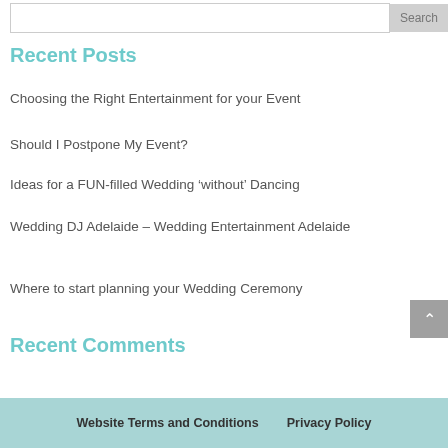Recent Posts
Choosing the Right Entertainment for your Event
Should I Postpone My Event?
Ideas for a FUN-filled Wedding ‘without’ Dancing
Wedding DJ Adelaide – Wedding Entertainment Adelaide
Where to start planning your Wedding Ceremony
Recent Comments
Website Terms and Conditions    Privacy Policy